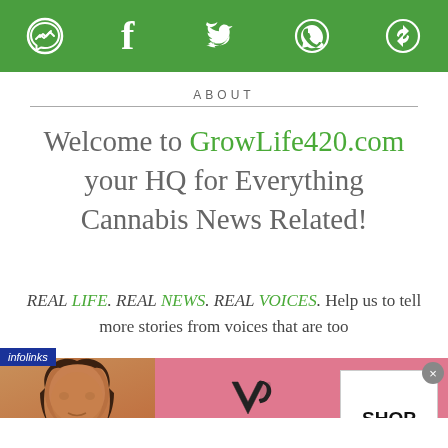[Figure (other): Green top navigation bar with social media icons: Messenger, Facebook, Twitter, WhatsApp, and a share/sync icon]
ABOUT
Welcome to GrowLife420.com your HQ for Everything Cannabis News Related!
REAL LIFE. REAL NEWS. REAL VOICES. Help us to tell more stories from voices that are too
[Figure (screenshot): Victoria's Secret advertisement banner with pink background, model photo, VS logo, text 'SHOP THE COLLECTION', and 'SHOP NOW' button]